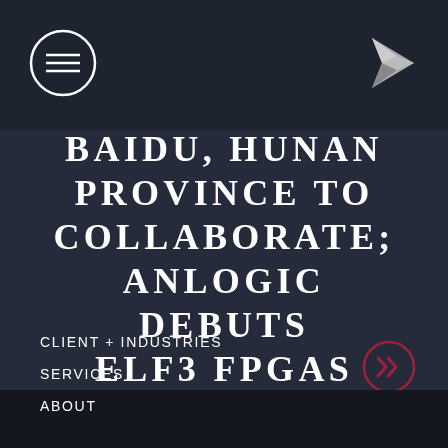[Figure (logo): Hamburger menu icon: circle with three horizontal lines]
[Figure (logo): Origami paper plane / arrow logo in silver/grey]
BAIDU, HUNAN PROVINCE TO COLLABORATE; ANLOGIC DEBUTS ELF3 FPGAS
[Figure (other): Double chevron right arrow icon in crimson red circle outline]
CLIENT + INDUSTRIES
SERVICES
ABOUT